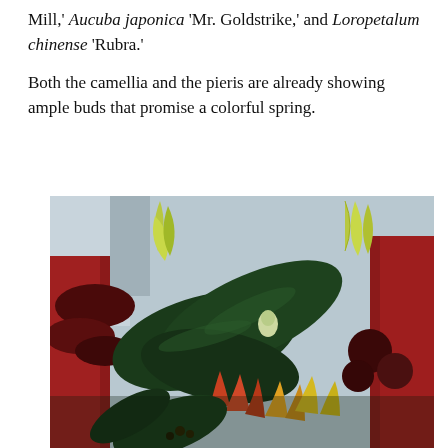Mill,' Aucuba japonica 'Mr. Goldstrike,' and Loropetalum chinense 'Rubra.'
Both the camellia and the pieris are already showing ample buds that promise a colorful spring.
[Figure (photo): Close-up photograph of a mixed plant arrangement featuring large dark green camellia leaves, dark burgundy/red foliage, yellow-green conifer sprigs, and emerging buds in shades of red, green, and gold. The background shows a red planter and urban setting.]